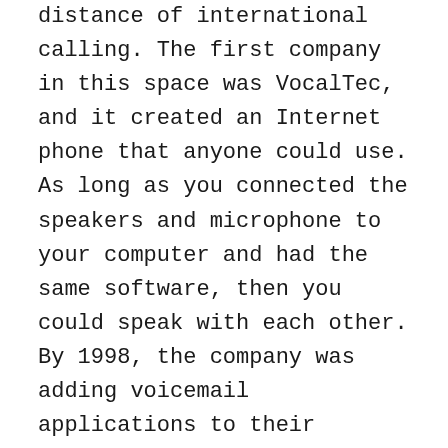distance of international calling. The first company in this space was VocalTec, and it created an Internet phone that anyone could use. As long as you connected the speakers and microphone to your computer and had the same software, then you could speak with each other. By 1998, the company was adding voicemail applications to their services while working with Microsoft to use NetMeeting.
During the first days of this service, users had to listen to advertising before and after their conversations. Longer calls had interruptions to provide marketing messages. That kept the adoption of this